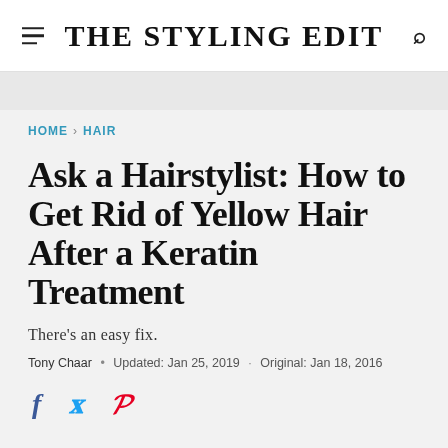THE STYLING EDIT
HOME > HAIR
Ask a Hairstylist: How to Get Rid of Yellow Hair After a Keratin Treatment
There's an easy fix.
Tony Chaar · Updated: Jan 25, 2019 · Original: Jan 18, 2016